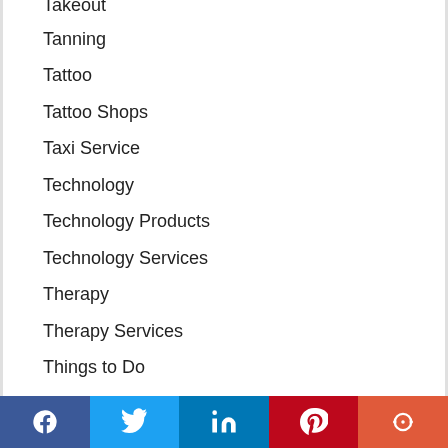Takeout
Tanning
Tattoo
Tattoo Shops
Taxi Service
Technology
Technology Products
Technology Services
Therapy
Therapy Services
Things to Do
Things to See
Tile Installation
Timeshares
Social share bar: Facebook, Twitter, LinkedIn, Pinterest, More